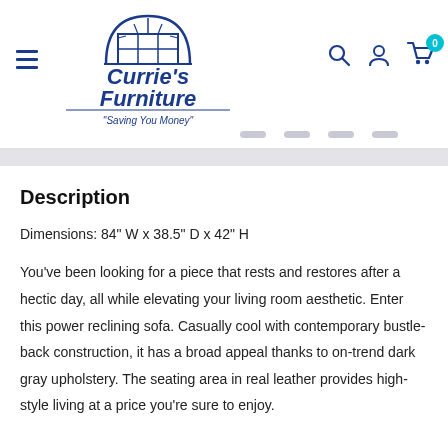[Figure (logo): Currie's Furniture logo with building/arch graphic above text reading Currie's Furniture and tagline 'Saving You Money']
Description
Dimensions: 84" W x 38.5" D x 42" H
You've been looking for a piece that rests and restores after a hectic day, all while elevating your living room aesthetic. Enter this power reclining sofa. Casually cool with contemporary bustle-back construction, it has a broad appeal thanks to on-trend dark gray upholstery. The seating area in real leather provides high-style living at a price you're sure to enjoy.